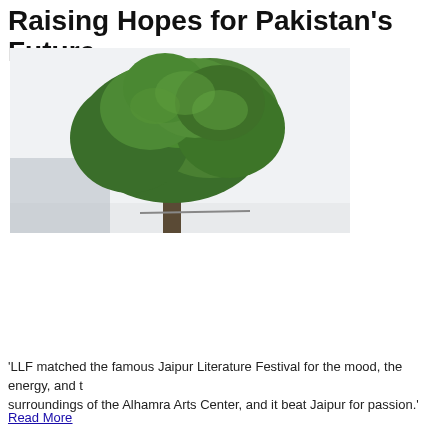Raising Hopes for Pakistan's Future
[Figure (photo): A large green tree with full canopy against a light/white sky background, with some muted landscape at the base.]
'LLF matched the famous Jaipur Literature Festival for the mood, the energy, and the surroundings of the Alhamra Arts Center, and it beat Jaipur for passion.'
Read More